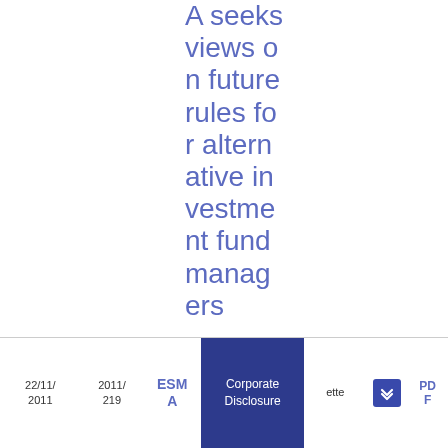A seeks views on future rules for alternative investment fund managers
22/11/2011   2011/219   ESMA   Corporate Disclosure   [gazette]   [icon]   PDF